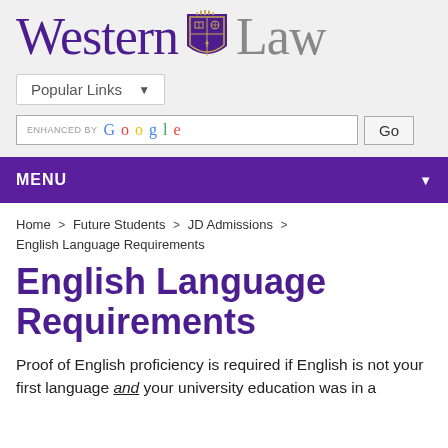[Figure (logo): Western Law logo with shield: 'Western' in purple serif font, university shield crest, 'Law' in grey serif font]
[Figure (screenshot): Popular Links dropdown button with down arrow]
[Figure (screenshot): Search bar with 'enhanced by Google' label and 'Go' button]
[Figure (screenshot): Purple MENU navigation bar with dropdown arrow]
Home > Future Students > JD Admissions > English Language Requirements
English Language Requirements
Proof of English proficiency is required if English is not your first language and your university education was in a